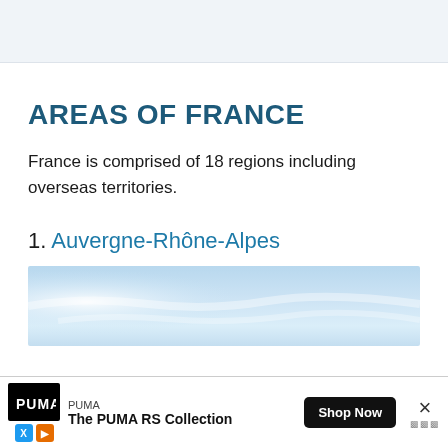AREAS OF FRANCE
France is comprised of 18 regions including overseas territories.
1.  Auvergne-Rhône-Alpes
[Figure (photo): Sky photo with blue sky and clouds, top portion of Auvergne-Rhône-Alpes section image]
[Figure (infographic): PUMA advertisement banner: The PUMA RS Collection with Shop Now button and close button]